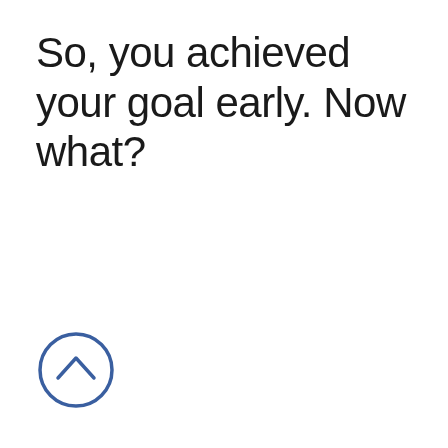So, you achieved your goal early. Now what?
[Figure (other): A circular icon with an upward-pointing chevron arrow, outlined in blue, positioned at the bottom-left of the page.]